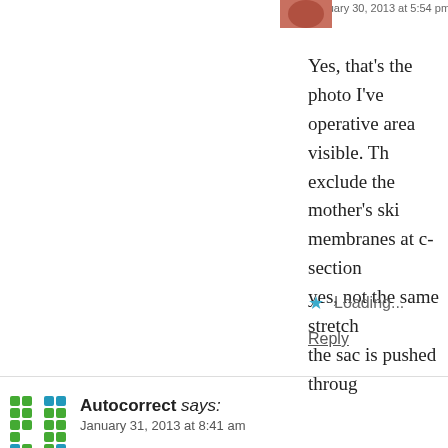January 30, 2013 at 5:54 pm
Yes, that's the photo I've operative area visible. Th exclude the mother's ski membranes at c-section yes, not the same stretch the sac is pushed throug
Loading...
Reply
Autocorrect says:
January 31, 2013 at 8:41 am
Greatly informative! Thanks for posting! Just tw edit. Thanks 🙂 "After 40 weeks gestation aroun meconium..." I think you mean "babies". Also so had"described". Just trying to be helpful.